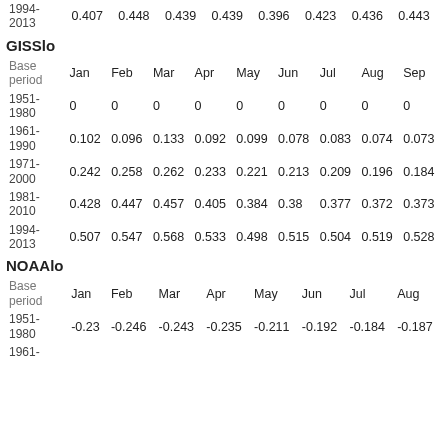|  | Jan | Feb | Mar | Apr | May | Jun | Jul | Aug | Sep |
| --- | --- | --- | --- | --- | --- | --- | --- | --- | --- |
| 1994-2013 | 0.407 | 0.448 | 0.439 | 0.439 | 0.396 | 0.423 | 0.436 | 0.443 |  |
GISSlo
| Base period | Jan | Feb | Mar | Apr | May | Jun | Jul | Aug | Sep |
| --- | --- | --- | --- | --- | --- | --- | --- | --- | --- |
| 1951-1980 | 0 | 0 | 0 | 0 | 0 | 0 | 0 | 0 | 0 |
| 1961-1990 | 0.102 | 0.096 | 0.133 | 0.092 | 0.099 | 0.078 | 0.083 | 0.074 | 0.073 |
| 1971-2000 | 0.242 | 0.258 | 0.262 | 0.233 | 0.221 | 0.213 | 0.209 | 0.196 | 0.184 |
| 1981-2010 | 0.428 | 0.447 | 0.457 | 0.405 | 0.384 | 0.38 | 0.377 | 0.372 | 0.373 |
| 1994-2013 | 0.507 | 0.547 | 0.568 | 0.533 | 0.498 | 0.515 | 0.504 | 0.519 | 0.528 |
NOAAlo
| Base period | Jan | Feb | Mar | Apr | May | Jun | Jul | Aug |
| --- | --- | --- | --- | --- | --- | --- | --- | --- |
| 1951-1980 | -0.23 | -0.246 | -0.243 | -0.235 | -0.211 | -0.192 | -0.184 | -0.187 |
| 1961- |  |  |  |  |  |  |  |  |